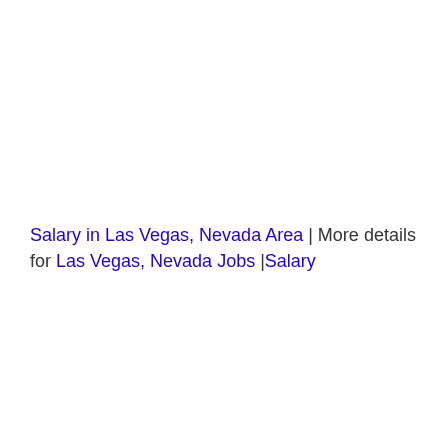Salary in Las Vegas, Nevada Area | More details for Las Vegas, Nevada Jobs |Salary